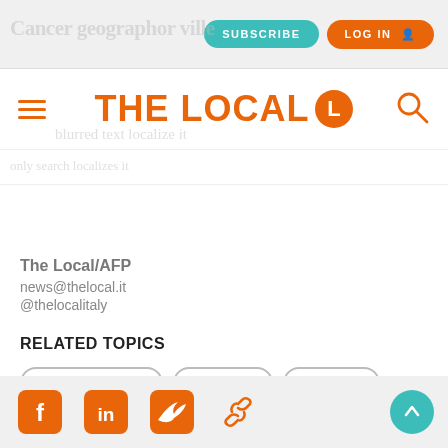THE LOCAL
The Local/AFP
news@thelocal.it
@thelocalitaly
RELATED TOPICS
AFGHANISTAN
TROOPS
ITALIAN
TERRO
Social media icons: Facebook, LinkedIn, Twitter, Link